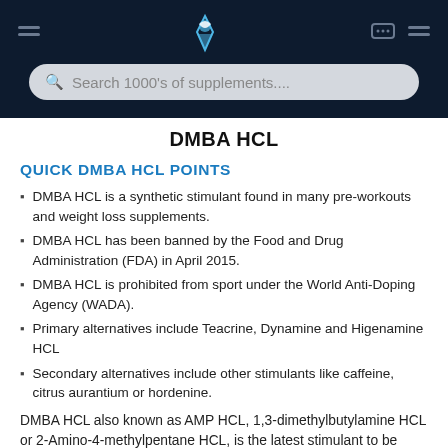[Figure (logo): Dark navy header bar with a muscle/fitness logo in the center, search icon and chat icon on right, menu icons on sides]
DMBA HCL
QUICK DMBA HCL POINTS
DMBA HCL is a synthetic stimulant found in many pre-workouts and weight loss supplements.
DMBA HCL has been banned by the Food and Drug Administration (FDA) in April 2015.
DMBA HCL is prohibited from sport under the World Anti-Doping Agency (WADA).
Primary alternatives include Teacrine, Dynamine and Higenamine HCL
Secondary alternatives include other stimulants like caffeine, citrus aurantium or hordenine.
DMBA HCL also known as AMP HCL, 1,3-dimethylbutylamine HCL or 2-Amino-4-methylpentane HCL, is the latest stimulant to be popularised by the bodybuilding and fitness supplement